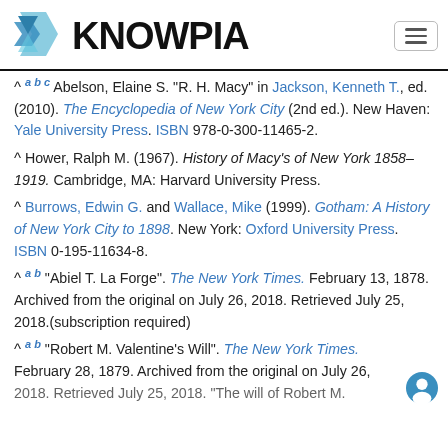KNOWPIA
^ a b c Abelson, Elaine S. "R. H. Macy" in Jackson, Kenneth T., ed. (2010). The Encyclopedia of New York City (2nd ed.). New Haven: Yale University Press. ISBN 978-0-300-11465-2.
^ Hower, Ralph M. (1967). History of Macy's of New York 1858–1919. Cambridge, MA: Harvard University Press.
^ Burrows, Edwin G. and Wallace, Mike (1999). Gotham: A History of New York City to 1898. New York: Oxford University Press. ISBN 0-195-11634-8.
^ a b "Abiel T. La Forge". The New York Times. February 13, 1878. Archived from the original on July 26, 2018. Retrieved July 25, 2018.(subscription required)
^ a b "Robert M. Valentine's Will". The New York Times. February 28, 1879. Archived from the original on July 26, 2018. Retrieved July 25, 2018. "The will of Robert M.